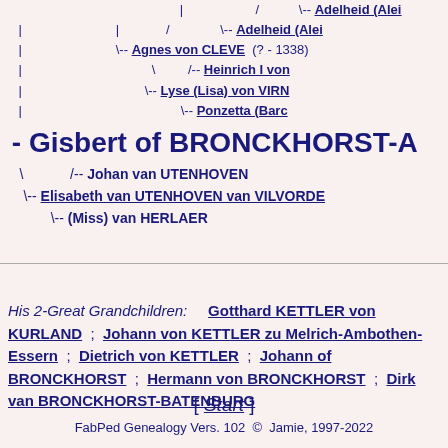[Figure (other): Genealogy tree diagram showing ancestors of Gisbert of BRONCKHORST-A, with lines showing Adelheid (Alei..., Agnes von CLEVE (?-1338), Heinrich I von..., Lyse (Lisa) von VIRN..., Ponzetta (Barc..., Johan van UTENHOVEN, Elisabeth van UTENHOVEN van VILVORDE..., (Miss) van HERLAER]
- Gisbert of BRONCKHORST-A
His 2-Great Grandchildren: Gotthard KETTLER von KURLAND ; Johann von KETTLER zu Melrich-Ambothen-Essern ; Dietrich von KETTLER ; Johann of BRONCKHORST ; Hermann von BRONCKHORST ; Dirk van BRONCKHORST-BATENBURG
[ Start ]
FabPed Genealogy Vers. 102  ©  Jamie, 1997-2022